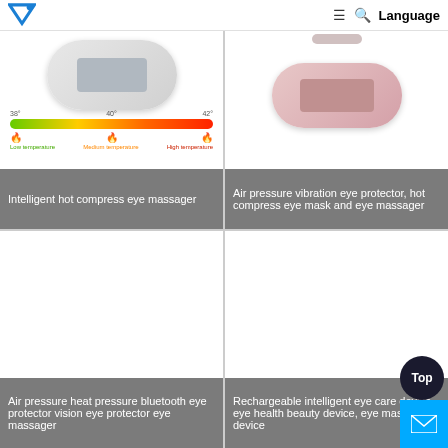[Figure (screenshot): Website header with logo (blue V-shape with dot), hamburger menu icon, search icon, and Language text]
[Figure (photo): Intelligent hot compress eye massager device shown with temperature gradient bar (38°, 40°, 42°) in green-to-red, with low/medium/high temperature icons below]
Intelligent hot compress eye massager
[Figure (photo): Air pressure vibration eye protector - pink/rose colored eye massager band device]
Air pressure vibration eye protector, hot compress eye mask and eye massager
[Figure (photo): Air pressure heat pressure bluetooth eye protector vision eye protector eye massager - white/blank image area]
Air pressure heat pressure bluetooth eye protector vision eye protector eye massager
[Figure (photo): Rechargeable intelligent eye care device, eye health beauty device, eye massage device - white/blank image area]
Rechargeable intelligent eye care device, eye health beauty device, eye massage device